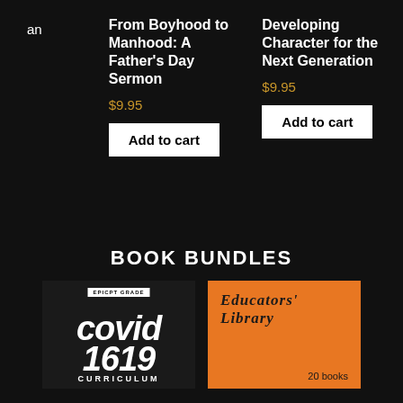an
From Boyhood to Manhood: A Father’s Day Sermon
$9.95
Add to cart
Developing Character for the Next Generation
$9.95
Add to cart
BOOK BUNDLES
[Figure (illustration): Book cover for Covid 1619 Curriculum with white distressed text on dark background, small label at top reading EPICPT GRADE]
[Figure (illustration): Book cover for Educators' Library in orange/amber color with dark serif italic text, reading '20 books' at the bottom right]